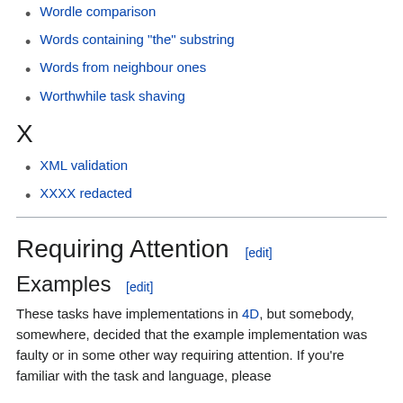Wordle comparison
Words containing "the" substring
Words from neighbour ones
Worthwhile task shaving
X
XML validation
XXXX redacted
Requiring Attention [edit]
Examples [edit]
These tasks have implementations in 4D, but somebody, somewhere, decided that the example implementation was faulty or in some other way requiring attention. If you're familiar with the task and language, please